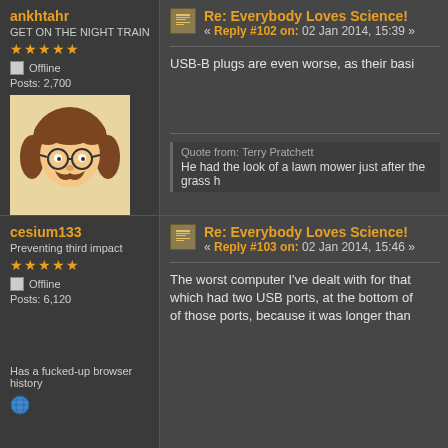ankhtahr
GET ON THE NIGHT TRAIN
★★★★★
Offline
Posts: 2,700
[Figure (illustration): Cartoon avatar of a person with brown curly hair, round glasses, and a mustache on a beige background]
A hacker spathe night owl
Re: Everybody Loves Science!
« Reply #102 on: 02 Jan 2014, 15:39 »
USB-B plugs are even worse, as their basi
Quote from: Terry Pratchett
He had the look of a lawn mower just after the grass h
cesium133
Preventing third impact
★★★★★
Offline
Posts: 6,120
Has a fucked-up browser history
[Figure (illustration): Globe/earth emoji icon]
Re: Everybody Loves Science!
« Reply #103 on: 02 Jan 2014, 15:46 »
The worst computer I've dealt with for that which had two USB ports, at the bottom of of those ports, because it was longer than